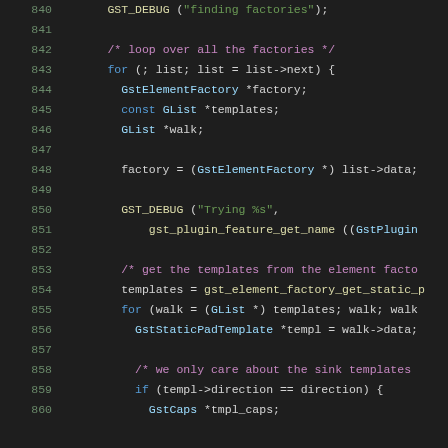Source code snippet, lines 840-860, C programming language with GStreamer API
840: GST_DEBUG ("finding factories");
841: (empty)
842: /* loop over all the factories */
843: for (; list; list = list->next) {
844: GstElementFactory *factory;
845: const GList *templates;
846: GList *walk;
847: (empty)
848: factory = (GstElementFactory *) list->data;
849: (empty)
850: GST_DEBUG ("Trying %s",
851: gst_plugin_feature_get_name ((GstPlugin...
852: (empty)
853: /* get the templates from the element facto...
854: templates = gst_element_factory_get_static_p...
855: for (walk = (GList *) templates; walk; walk...
856: GstStaticPadTemplate *templ = walk->data;
857: (empty)
858: /* we only care about the sink templates ...
859: if (templ->direction == direction) {
860: GstCaps *tmpl_caps;